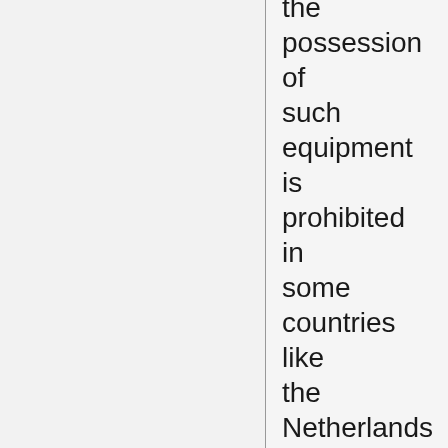the possession of such equipment is prohibited in some countries like the Netherlands and Belgium from